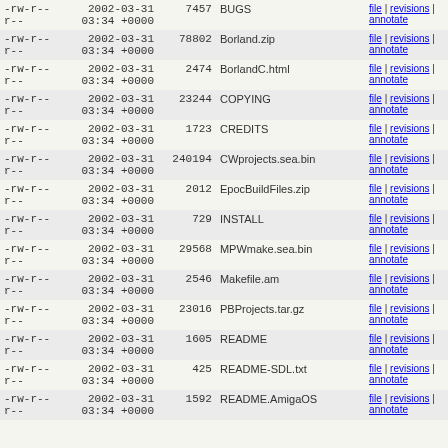| permissions | date | size | name | links |
| --- | --- | --- | --- | --- |
| -rw-r--r-- | 2002-03-31 03:34 +0000 | 7457 | BUGS | file | revisions | annotate |
| -rw-r--r-- | 2002-03-31 03:34 +0000 | 78802 | Borland.zip | file | revisions | annotate |
| -rw-r--r-- | 2002-03-31 03:34 +0000 | 2474 | BorlandC.html | file | revisions | annotate |
| -rw-r--r-- | 2002-03-31 03:34 +0000 | 23244 | COPYING | file | revisions | annotate |
| -rw-r--r-- | 2002-03-31 03:34 +0000 | 1723 | CREDITS | file | revisions | annotate |
| -rw-r--r-- | 2002-03-31 03:34 +0000 | 240194 | CWprojects.sea.bin | file | revisions | annotate |
| -rw-r--r-- | 2002-03-31 03:34 +0000 | 2012 | EpocBuildFiles.zip | file | revisions | annotate |
| -rw-r--r-- | 2002-03-31 03:34 +0000 | 729 | INSTALL | file | revisions | annotate |
| -rw-r--r-- | 2002-03-31 03:34 +0000 | 29568 | MPWmake.sea.bin | file | revisions | annotate |
| -rw-r--r-- | 2002-03-31 03:34 +0000 | 2546 | Makefile.am | file | revisions | annotate |
| -rw-r--r-- | 2002-03-31 03:34 +0000 | 23016 | PBProjects.tar.gz | file | revisions | annotate |
| -rw-r--r-- | 2002-03-31 03:34 +0000 | 1605 | README | file | revisions | annotate |
| -rw-r--r-- | 2002-03-31 03:34 +0000 | 425 | README-SDL.txt | file | revisions | annotate |
| -rw-r--r-- | 2002-03-31 03:34 +0000 | 1592 | README.AmigaOS | file | revisions | annotate |